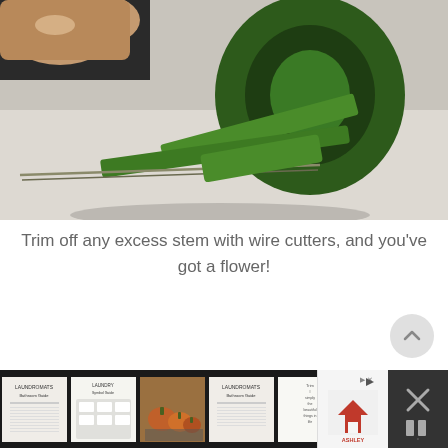[Figure (photo): Close-up photo of a hand holding a roll of green floral tape over a wire stem. A thin wire is being wrapped with green floral tape on a white surface.]
Trim off any excess stem with wire cutters, and you've got a flower!
[Figure (screenshot): Bottom navigation bar with thumbnail images of related articles and an Ashley Furniture advertisement, on a dark background.]